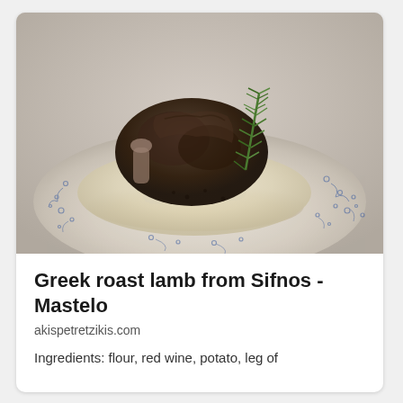[Figure (photo): Photo of a Greek roast lamb (Mastelo) dish served on a decorative blue and white patterned plate, with the lamb on top of mashed potato/puree, garnished with a sprig of rosemary, with sauce pooled around the base.]
Greek roast lamb from Sifnos -Mastelo
akispetretzikis.com
Ingredients: flour, red wine, potato, leg of